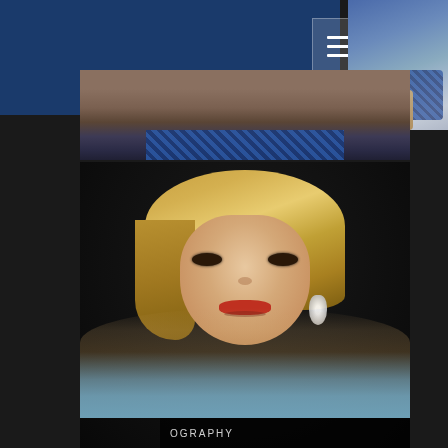[Figure (photo): Website screenshot showing two photos: a top banner with a partial portrait photo and navy blue band with hamburger menu icon, and a main professional headshot of a blonde woman with a bob haircut, dramatic makeup, red lips, wearing a light blue off-shoulder top, against a dark background. A photography watermark reading 'OGRAPHY' is visible at the bottom.]